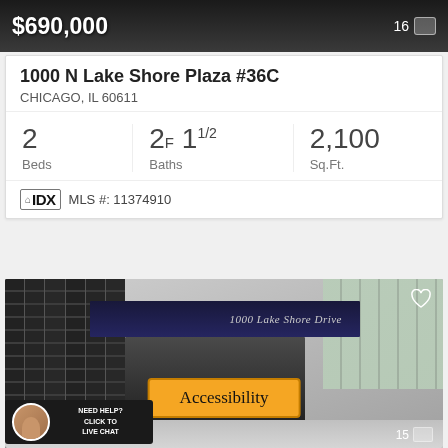$690,000
1000 N Lake Shore Plaza #36C
CHICAGO, IL 60611
2 Beds | 2F 1 1/2 Baths | 2,100 Sq.Ft.
IDX MLS #: 11374910
[Figure (photo): Building entrance of 1000 Lake Shore Drive, showing dark vertical panel facade on left, glass panels on right, dark canopy with building name text, and accessibility button overlay]
Accessibility
NEED HELP? CLICK TO LIVE CHAT